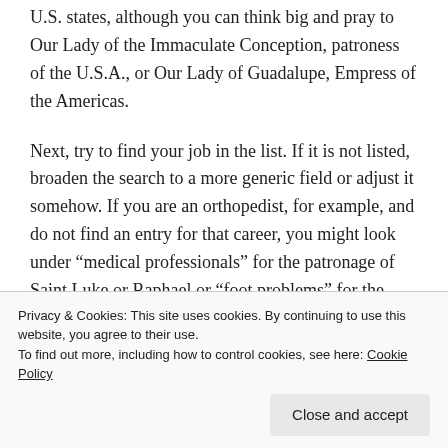U.S. states, although you can think big and pray to Our Lady of the Immaculate Conception, patroness of the U.S.A., or Our Lady of Guadalupe, Empress of the Americas.
Next, try to find your job in the list. If it is not listed, broaden the search to a more generic field or adjust it somehow. If you are an orthopedist, for example, and do not find an entry for that career, you might look under “medical professionals” for the patronage of Saint Luke or Raphael or “foot problems” for the patronage of Saint
Privacy & Cookies: This site uses cookies. By continuing to use this website, you agree to their use.
To find out more, including how to control cookies, see here: Cookie Policy
Sebastian is the patron saint of all athletes and would